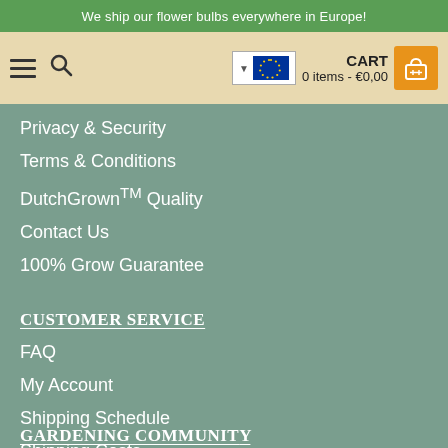We ship our flower bulbs everywhere in Europe!
[Figure (screenshot): Navigation bar with hamburger menu icon, search icon, EU language selector with flag, and shopping cart showing 0 items - €0,00 with orange cart button]
Privacy & Security
Terms & Conditions
DutchGrown™ Quality
Contact Us
100% Grow Guarantee
CUSTOMER SERVICE
FAQ
My Account
Shipping Schedule
Shipping Costs
GARDENING COMMUNITY